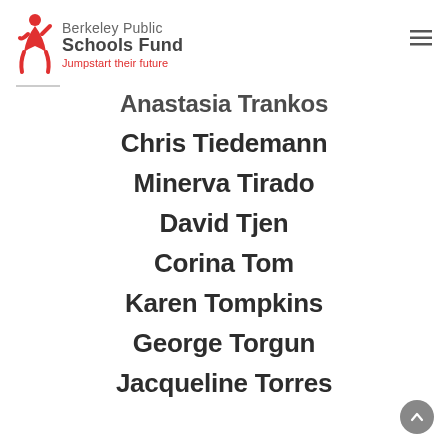[Figure (logo): Berkeley Public Schools Fund logo with red jumping figure and text 'Berkeley Public Schools Fund – Jumpstart their future']
Anastasia Trankos
Chris Tiedemann
Minerva Tirado
David Tjen
Corina Tom
Karen Tompkins
George Torgun
Jacqueline Torres